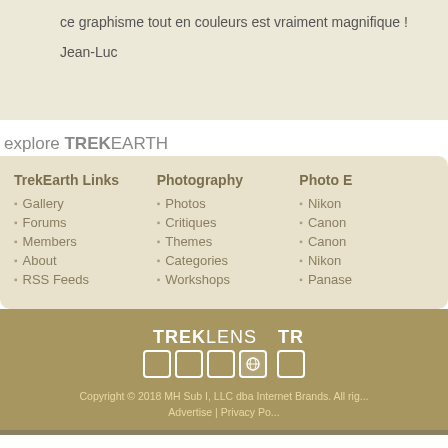ce graphisme tout en couleurs est vraiment magnifique !
Jean-Luc
explore TREKEARTH
Gallery
Forums
Members
About
RSS Feeds
Photos
Critiques
Themes
Categories
Workshops
Nikon
Canon
Canon
Nikon
Panasonic
[Figure (logo): TREKLENS logo with grid of boxes]
[Figure (logo): TR logo with box]
Copyright © 2018 MH Sub I, LLC dba Internet Brands. All rights reserved. Advertise | Privacy Policy